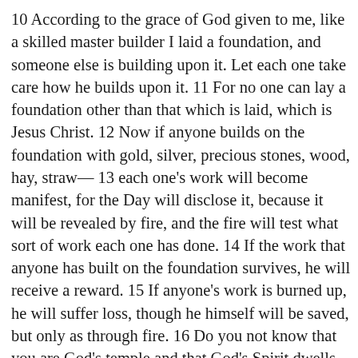10 According to the grace of God given to me, like a skilled master builder I laid a foundation, and someone else is building upon it. Let each one take care how he builds upon it. 11 For no one can lay a foundation other than that which is laid, which is Jesus Christ. 12 Now if anyone builds on the foundation with gold, silver, precious stones, wood, hay, straw— 13 each one's work will become manifest, for the Day will disclose it, because it will be revealed by fire, and the fire will test what sort of work each one has done. 14 If the work that anyone has built on the foundation survives, he will receive a reward. 15 If anyone's work is burned up, he will suffer loss, though he himself will be saved, but only as through fire. 16 Do you not know that you are God's temple and that God's Spirit dwells in you? 17 If anyone destroys God's temple, God will destroy him. For God's temple is holy, and you are that temple. 18 Let no one deceive himself. If anyone among you thinks that he is wise in this age, let him become a fool that he may become wise. 19 For the wisdom of this world is folly with God. For it is written, "He catches the wise in their craftiness" 20 and again, "The